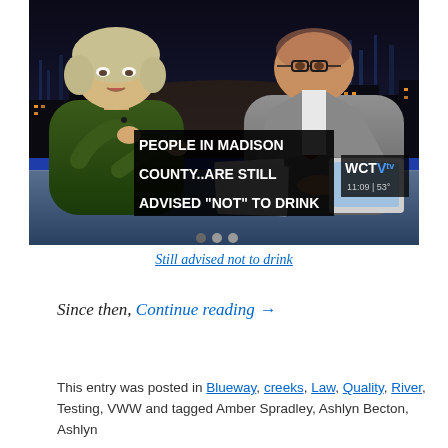[Figure (screenshot): TV news broadcast screenshot showing two news anchors at a desk. A woman in green on the left and a man in a gray suit on the right. A news chyron overlaid on screen reads: 'PEOPLE IN MADISON COUNTY..ARE STILL ADVISED "NOT" TO DRINK'. WCTV logo appears bottom right with time 11:09 and temperature 53°.]
Still advised not to drink
Since then, Continue reading →
This entry was posted in Blueway, creeks, Law, Quality, River, Testing, VWW and tagged Amber Spradley, Ashlyn Becton, Ashlyn